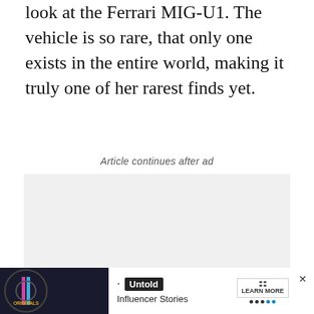look at the Ferrari MIG-U1. The vehicle is so rare, that only one exists in the entire world, making it truly one of her rarest finds yet.
Article continues after ad
[Figure (other): Gray advertisement placeholder box]
[Figure (other): Banner advertisement: Originals logo on dark background, bullet point, 'Untold' badge, 'Influencer Stories', LEARN MORE button, close X button]